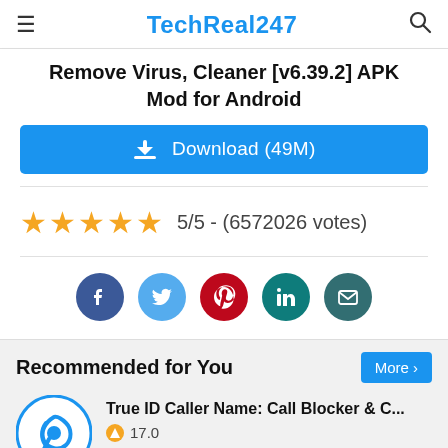TechReal247
Remove Virus, Cleaner [v6.39.2] APK Mod for Android
Download (49M)
5/5 - (6572026 votes)
[Figure (other): Social sharing icons: Facebook, Twitter, Pinterest, LinkedIn, Email]
Recommended for You
True ID Caller Name: Call Blocker & C...
17.0